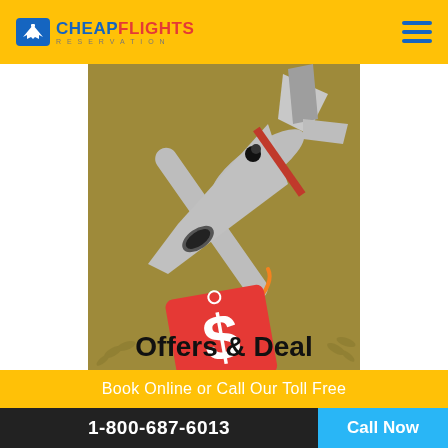[Figure (logo): CheapFlights Reservation logo with airplane icon and hamburger menu]
[Figure (illustration): Illustration of an airplane viewed from below on a golden/olive background, with a red price tag showing a dollar sign hanging from it, and text 'Offers & Deal' at the bottom]
Book Online or Call Our Toll Free
1-800-687-6013
Call Now